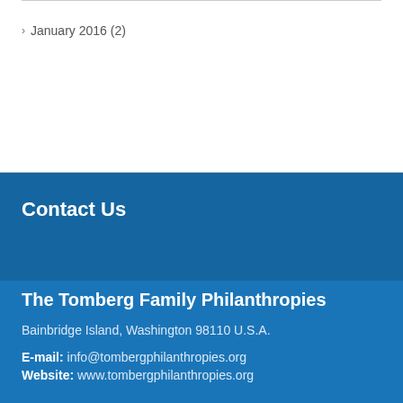› January 2016 (2)
Contact Us
The Tomberg Family Philanthropies
Bainbridge Island, Washington 98110 U.S.A.
E-mail: info@tombergphilanthropies.org
Website: www.tombergphilanthropies.org